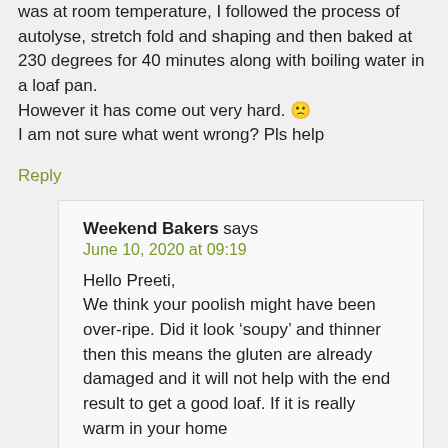was at room temperature, I followed the process of autolyse, stretch fold and shaping and then baked at 230 degrees for 40 minutes along with boiling water in a loaf pan. However it has come out very hard. 🙁 I am not sure what went wrong? Pls help
Reply
Weekend Bakers says
June 10, 2020 at 09:19
Hello Preeti, We think your poolish might have been over-ripe. Did it look 'soupy' and thinner then this means the gluten are already damaged and it will not help with the end result to get a good loaf. If it is really warm in your home